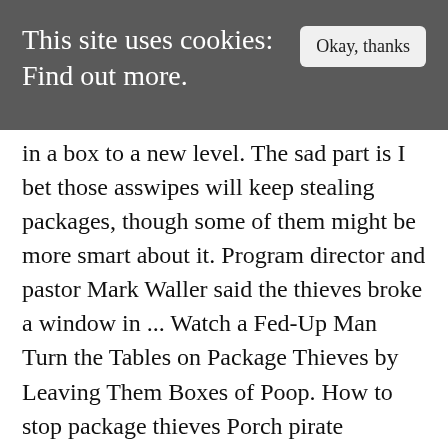This site uses cookies: Find out more.
in a box to a new level. The sad part is I bet those asswipes will keep stealing packages, though some of them might be more smart about it. Program director and pastor Mark Waller said the thieves broke a window in ... Watch a Fed-Up Man Turn the Tables on Package Thieves by Leaving Them Boxes of Poop. How to stop package thieves Porch pirate problems? If you were told a delivery was made but nothing is there make a police report. I meant will insurance replace the same wheels that were stolen since it sounds like it was a package or if they are going to only pay for the base wheels. GetSafe's 24/7 night vision security